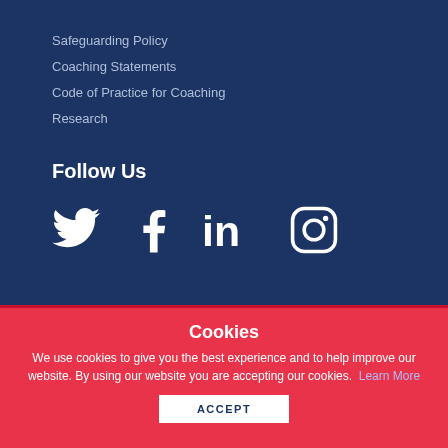Safeguarding Policy
Coaching Statements
Code of Practice for Coaching
Research
Follow Us
[Figure (illustration): Social media icons: Twitter, Facebook, LinkedIn, Instagram in white on dark blue background]
Cookies
We use cookies to give you the best experience and to help improve our website. By using our website you are accepting our cookies. Learn More
ACCEPT